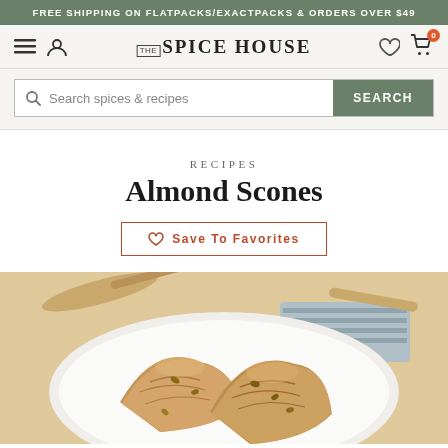FREE SHIPPING ON FLATPACKS/EXACTPACKS & ORDERS OVER $49
[Figure (screenshot): The Spice House website navigation bar with hamburger menu, user icon, logo, heart/wishlist icon, and cart icon showing 0 items]
[Figure (screenshot): Search bar with magnifying glass icon, placeholder text 'Search spices & recipes', and green SEARCH button]
RECIPES
Almond Scones
Save To Favorites
[Figure (photo): Two golden-brown almond scones on a white plate, with a wooden spoon and blue striped cloth in the background on a light wooden surface]